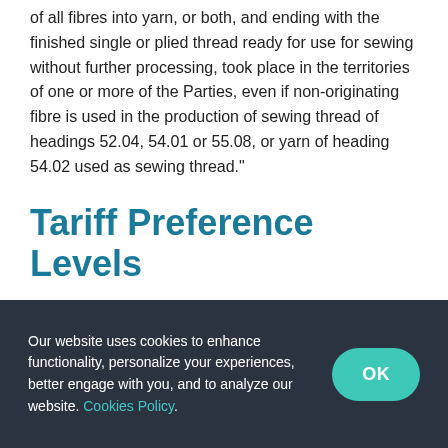of all fibres into yarn, or both, and ending with the finished single or plied thread ready for use for sewing without further processing, took place in the territories of one or more of the Parties, even if non-originating fibre is used in the production of sewing thread of headings 52.04, 54.01 or 55.08, or yarn of heading 54.02 used as sewing thread."
Tariff Preference Levels
Our website uses cookies to enhance functionality, personalize your experiences, better engage with you, and to analyze our website. Cookies Policy.